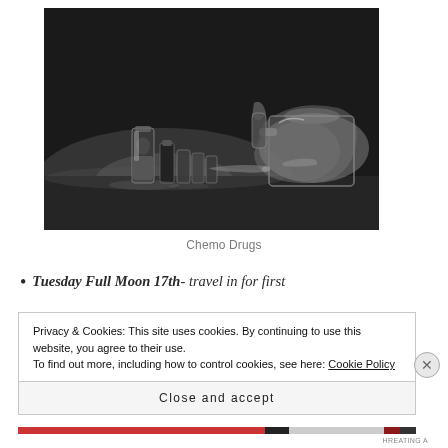[Figure (photo): Black and white photograph of various pharmaceutical vials, ampoules, and bottles used for chemotherapy drugs, arranged on a dark reflective surface]
Chemo Drugs
Tuesday Full Moon 17th- travel in for first
Privacy & Cookies: This site uses cookies. By continuing to use this website, you agree to their use.
To find out more, including how to control cookies, see here: Cookie Policy
Close and accept